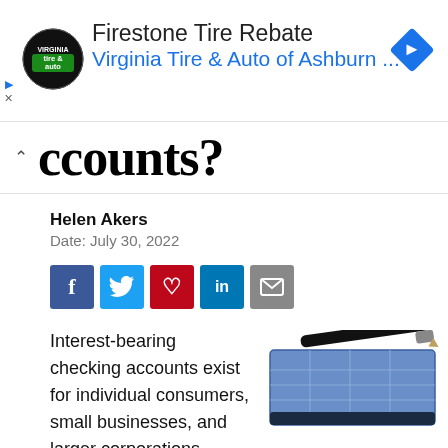[Figure (other): Advertisement banner: Firestone Tire Rebate, Virginia Tire & Auto of Ashburn ... with logo and navigation arrow icon]
ccounts?
Helen Akers
Date: July 30, 2022
[Figure (other): Social media share buttons: Facebook, Twitter, Pinterest, LinkedIn, Email]
Interest-bearing checking accounts exist for individual consumers, small businesses, and larger corporations. Financial institutions may offer a variety of interest rates and terms.
[Figure (photo): Photo of a checkbook with a pen resting on top]